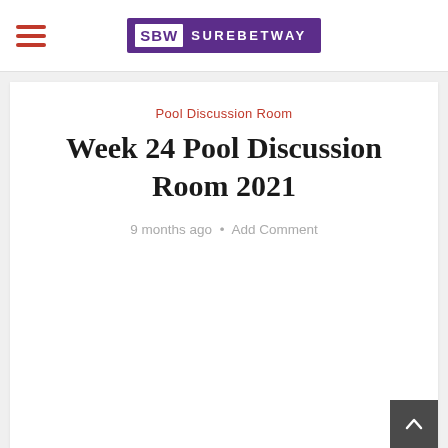[Figure (logo): SBW SUREBETWAY logo in purple box with white lettering]
Pool Discussion Room
Week 24 Pool Discussion Room 2021
9 months ago • Add Comment